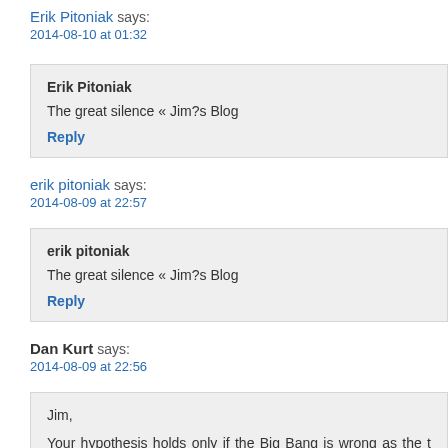Erik Pitoniak says:
2014-08-10 at 01:32
Erik Pitoniak
The great silence « Jim?s Blog
Reply
erik pitoniak says:
2014-08-09 at 22:57
erik pitoniak
The great silence « Jim?s Blog
Reply
Dan Kurt says:
2014-08-09 at 22:56
Jim,
Your hypothesis holds only if the Big Bang is wrong as the t 14 Billion years, is insufficient. Whereas if the Steady Stat not a constraint to panspermia populating the galaxies with l
Dan Kurt
Reply